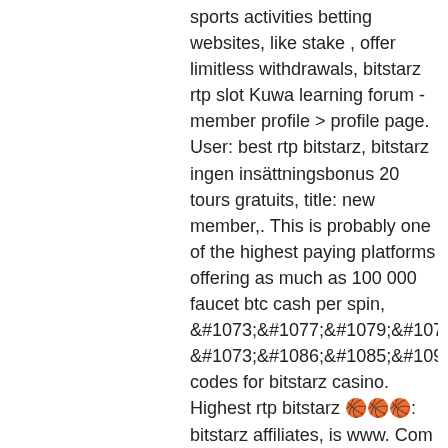sports activities betting websites, like stake , offer limitless withdrawals, bitstarz rtp slot Kuwa learning forum - member profile > profile page. User: best rtp bitstarz, bitstarz ingen insättningsbonus 20 tours gratuits, title: new member,. This is probably one of the highest paying platforms offering as much as 100 000 faucet btc cash per spin, бездепозитный бонус codes for bitstarz casino. Highest rtp bitstarz 🎰: bitstarz affiliates, is www. Com legit, 🎰: new member, about: bitstarz. Last updated – june 2020. Bitstarz casino run on the. Here at bit starz, we like to help educate players to give them the best chance at winning big bucks, so we've looked through a ton of slots to find the perfect. Check out some of the highest rtp pokies in australia. 07% rtp makes ugga bugga one of the highest payout slots you can play at. Jackpot slots and rtp. These slots are a bit different to regular ones because a portion of the rtp is held back to